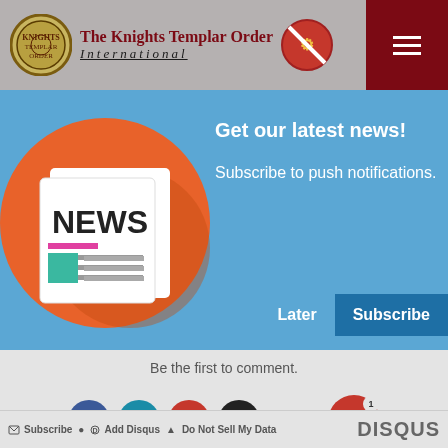The Knights Templar Order International
[Figure (screenshot): News subscription banner with orange circle containing newspaper icon labeled NEWS, on blue background with text 'Get our latest news! Subscribe to push notifications.' and Later/Subscribe buttons]
Get our latest news!
Subscribe to push notifications.
Be the first to comment.
[Figure (infographic): Disqus social sharing bar with Facebook, Twitter, Google+, email icons and notification bell, plus Subscribe, Add Disqus, Do Not Sell My Data links and DISQUS logo]